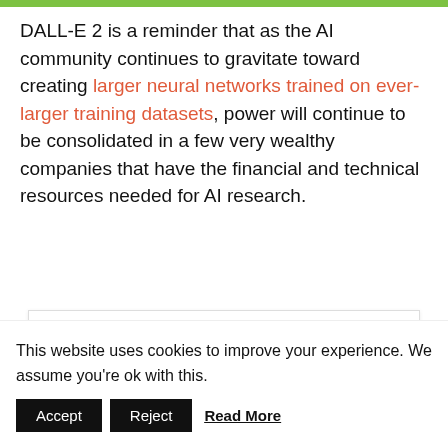DALL-E 2 is a reminder that as the AI community continues to gravitate toward creating larger neural networks trained on ever-larger training datasets, power will continue to be consolidated in a few very wealthy companies that have the financial and technical resources needed for AI research.
[Figure (other): TechTalks Newsletter signup box with title, description, and an email input with orange submit button]
This website uses cookies to improve your experience. We assume you're ok with this. Accept Reject Read More